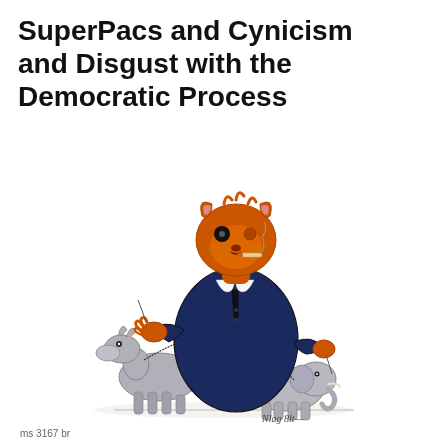SuperPacs and Cynicism and Disgust with the Democratic Process
[Figure (illustration): Political cartoon showing a large rotund figure with an orange animal (cat/tiger) head wearing a navy blue suit, holding leashes attached to a grey donkey (Democrat symbol) and a grey elephant (Republican symbol). The figure holds a cigar. Signed in bottom right corner. Caption 'ms 3167 br' in bottom left.]